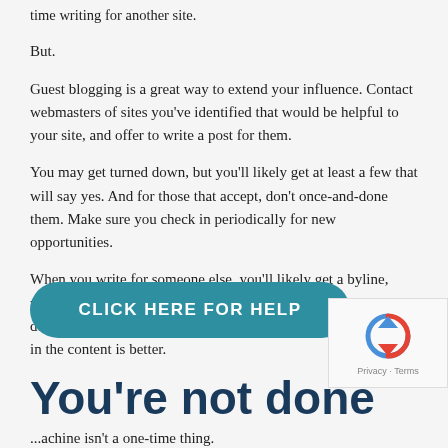...Finally, it seems counterintuitive, to spend your limited time writing for another site.
But.
Guest blogging is a great way to extend your influence. Contact webmasters of sites you've identified that would be helpful to your site, and offer to write a post for them.
You may get turned down, but you'll likely get at least a few that will say yes. And for those that accept, don't once-and-done them. Make sure you check in periodically for new opportunities.
When you write for someone else, you'll likely get a byline, which may come with a bio section. That one or two sentence description of you is a good spot for backlink, but having them in the content is better.
You're not done
...achine isn't a one-time thing.
[Figure (other): CLICK HERE FOR HELP CTA button overlay]
[Figure (other): reCAPTCHA privacy widget in bottom right corner]